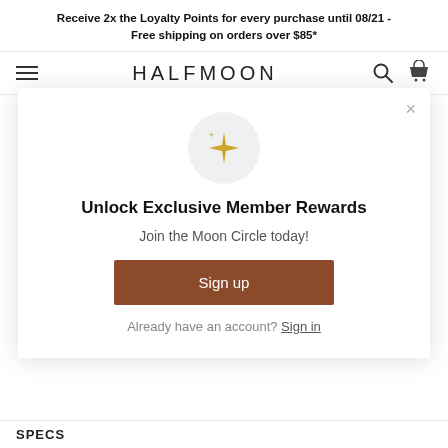Receive 2x the Loyalty Points for every purchase until 08/21 - Free shipping on orders over $85*
HALFMOON
Adjustable support for optimal sitting posture
Malleable buckwheat fill shapes to any
[Figure (screenshot): Sparkle/stars emoji icon inside a light grey circle]
Unlock Exclusive Member Rewards
Join the Moon Circle today!
Sign up
Already have an account? Sign in
SPECS